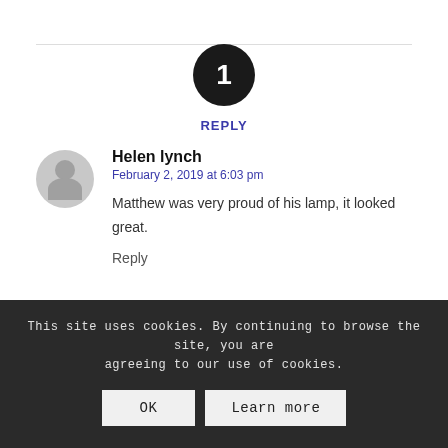1
REPLY
Helen lynch
February 2, 2019 at 6:03 pm
Matthew was very proud of his lamp, it looked great.
Reply
This site uses cookies. By continuing to browse the site, you are agreeing to our use of cookies.
OK
Learn more
Want to join the discussion? Feel free to contribute.